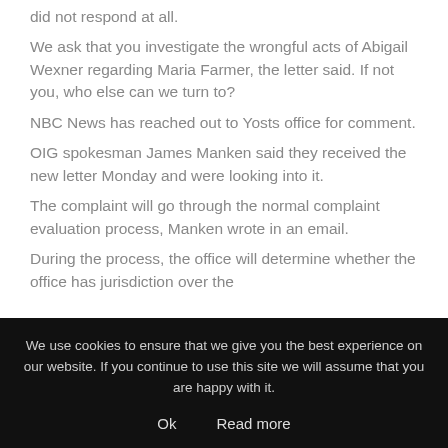did not respond at all. We ask that you investigate the wrongful acts of Abigail Wexner regarding Maria Farmer, the letter said. If not you, who else can we turn to? NBC News has reached out to Yosts office for comment. OIG spokesman James Manken said they received the new letter Monday and were looking into it. The complaint will go through the normal complaint evaluation process, Manken wrote in an email. During the process, the office will determine whether the office has jurisdiction over the
We use cookies to ensure that we give you the best experience on our website. If you continue to use this site we will assume that you are happy with it.
Ok    Read more